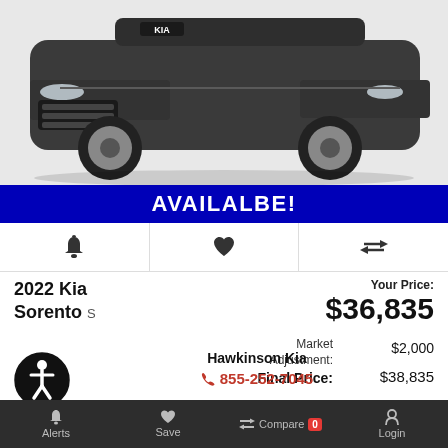[Figure (photo): Front three-quarter view of a dark gray 2022 Kia Sorento SUV on a white background]
AVAILALBE!
[Figure (other): Row of three icons: bell (alerts), heart (save), compare arrows]
2022 Kia Sorento S
Your Price: $36,835
Market Adjustment: $2,000
Final Price: $38,835
Hawkinson Kia
855-252-7045
Alerts  Save  Compare 0  Login